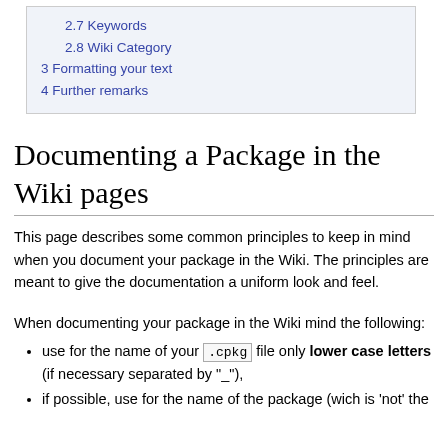2.7 Keywords
2.8 Wiki Category
3 Formatting your text
4 Further remarks
Documenting a Package in the Wiki pages
This page describes some common principles to keep in mind when you document your package in the Wiki. The principles are meant to give the documentation a uniform look and feel.
When documenting your package in the Wiki mind the following:
use for the name of your .cpkg file only lower case letters (if necessary separated by "_"),
if possible, use for the name of the package (wich is 'not' the